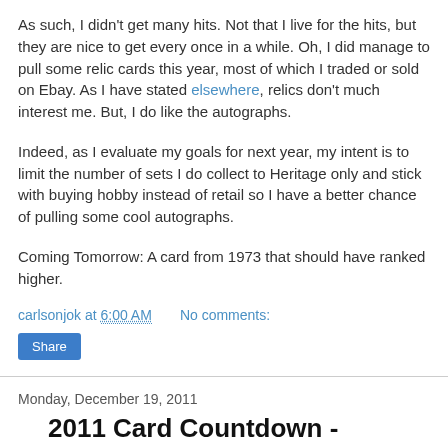As such, I didn't get many hits. Not that I live for the hits, but they are nice to get every once in a while. Oh, I did manage to pull some relic cards this year, most of which I traded or sold on Ebay. As I have stated elsewhere, relics don't much interest me. But, I do like the autographs.
Indeed, as I evaluate my goals for next year, my intent is to limit the number of sets I do collect to Heritage only and stick with buying hobby instead of retail so I have a better chance of pulling some cool autographs.
Coming Tomorrow: A card from 1973 that should have ranked higher.
carlsonjok at 6:00 AM    No comments:
Share
Monday, December 19, 2011
2011 Card Countdown - Number 12